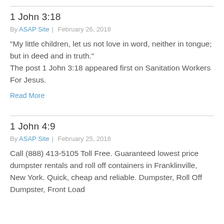1 John 3:18
By ASAP Site | February 26, 2018
“My little children, let us not love in word, neither in tongue; but in deed and in truth.” The post 1 John 3:18 appeared first on Sanitation Workers For Jesus.
Read More
1 John 4:9
By ASAP Site | February 25, 2018
Call (888) 413-5105 Toll Free. Guaranteed lowest price dumpster rentals and roll off containers in Franklinville, New York. Quick, cheap and reliable. Dumpster, Roll Off Dumpster, Front Load